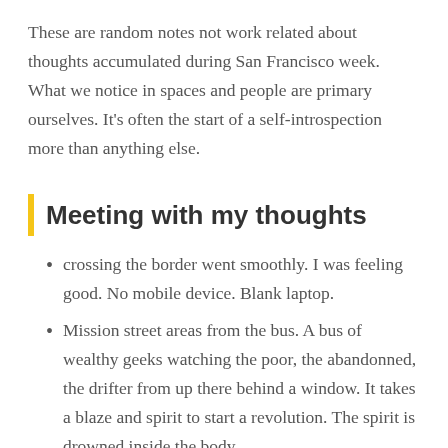These are random notes not work related about thoughts accumulated during San Francisco week. What we notice in spaces and people are primary ourselves. It's often the start of a self-introspection more than anything else.
Meeting with my thoughts
crossing the border went smoothly. I was feeling good. No mobile device. Blank laptop.
Mission street areas from the bus. A bus of wealthy geeks watching the poor, the abandonned, the drifter from up there behind a window. It takes a blaze and spirit to start a revolution. The spirit is drowned inside the body.